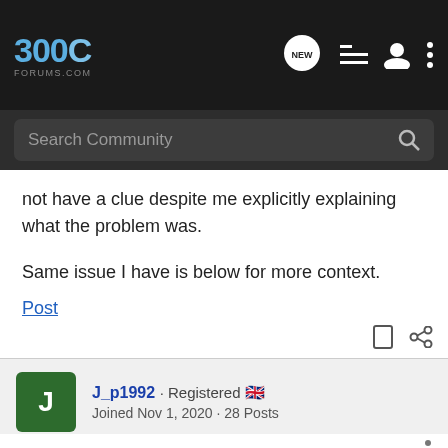300C FORUMS.COM
not have a clue despite me explicitly explaining what the problem was.

Same issue I have is below for more context.
Post
J_p1992 · Registered 🇬🇧
Joined Nov 1, 2020 · 28 Posts
#2 · Jun 20, 2022
Hi mate,